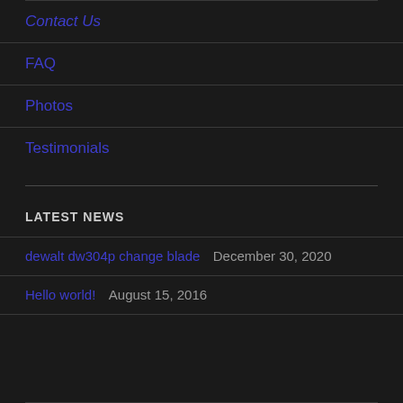Contact Us
FAQ
Photos
Testimonials
LATEST NEWS
dewalt dw304p change blade  December 30, 2020
Hello world!  August 15, 2016